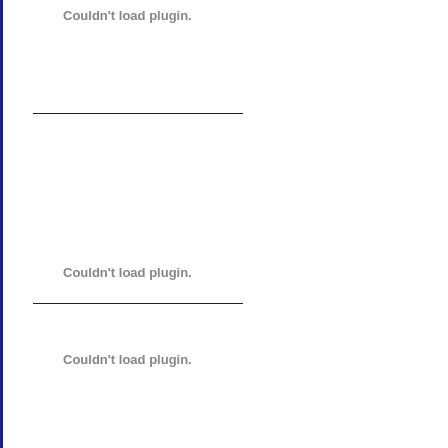[Figure (other): Plugin placeholder block 1 with text 'Couldn't load plugin.']
[Figure (other): Plugin placeholder block 2 with text 'Couldn't load plugin.']
[Figure (other): Plugin placeholder block 3 with text 'Couldn't load plugin.']